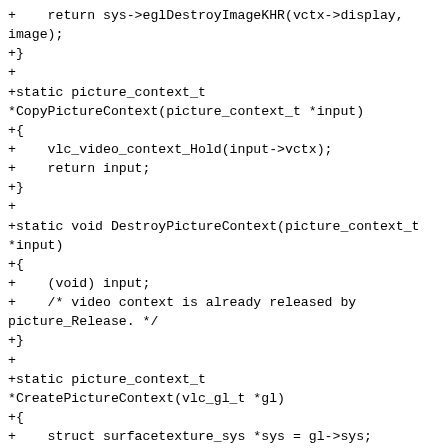+    return sys->eglDestroyImageKHR(vctx->display,
image);
+}
+
+static picture_context_t
*CopyPictureContext(picture_context_t *input)
+{
+    vlc_video_context_Hold(input->vctx);
+    return input;
+}
+
+static void DestroyPictureContext(picture_context_t
*input)
+{
+    (void) input;
+    /* video context is already released by
picture_Release. */
+}
+
+static picture_context_t
*CreatePictureContext(vlc_gl_t *gl)
+{
+    struct surfacetexture_sys *sys = gl->sys;
+    struct picture_ctx *ctx = malloc(sizeof(*ctx));
+    struct video_ctx *vctx = GetVCtx(gl);
+
+    ctx->texture = vlc_asurfacetexture_New(gl->device-
>opaque, false);
+
+    struct ANativeWindow *window = ctx->texture-